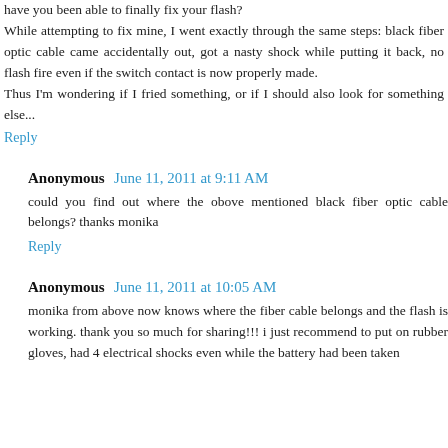have you been able to finally fix your flash? While attempting to fix mine, I went exactly through the same steps: black fiber optic cable came accidentally out, got a nasty shock while putting it back, no flash fire even if the switch contact is now properly made. Thus I'm wondering if I fried something, or if I should also look for something else...
Reply
Anonymous June 11, 2011 at 9:11 AM
could you find out where the obove mentioned black fiber optic cable belongs? thanks monika
Reply
Anonymous June 11, 2011 at 10:05 AM
monika from above now knows where the fiber cable belongs and the flash is working. thank you so much for sharing!!! i just recommend to put on rubber gloves, had 4 electrical shocks even while the battery had been taken